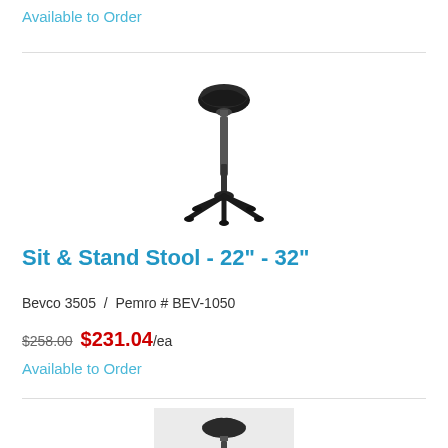Available to Order
[Figure (photo): Black sit and stand stool with adjustable pole and five-star base, no wheels, saddle seat, on white background]
Sit & Stand Stool - 22" - 32"
Bevco 3505  /  Pemro # BEV-1050
$258.00  $231.04/ea
Available to Order
[Figure (photo): Black sit and stand stool with saddle seat and adjustable pole, on light gray/white background, partially visible]